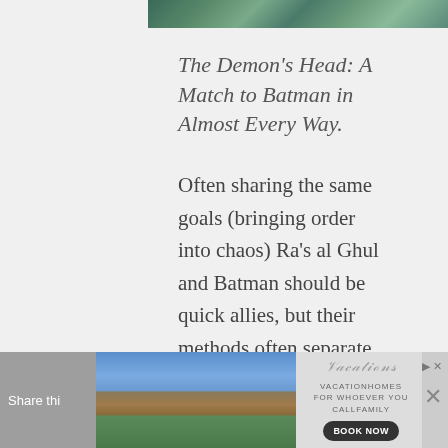[Figure (illustration): Top portion of a comic book or article illustration showing characters in green/teal clothing, partially cropped]
The Demon’s Head: A Match to Batman in Almost Every Way.
Often sharing the same goals (bringing order into chaos) Ra’s al Ghul and Batman should be quick allies, but their methods often separate the two. While Ra’s is content to destroy most of the world for the sake of saving it, Batman is does not share his radical views.
Origins: Though there at times Ra’s may have no origin (other than being over six hundred years old) his origin story has
[Figure (screenshot): Advertisement banner at bottom of page: vacation homes booking ad with house image, VacationHomes For Whoever You Call Family logo, and Book Now button]